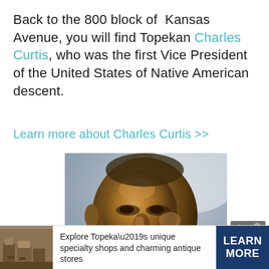Back to the 800 block of Kansas Avenue, you will find Topekan Charles Curtis, who was the first Vice President of the United States of Native American descent.
Learn more about Charles Curtis >>
[Figure (photo): Close-up photograph of a bronze bust sculpture of Charles Curtis, showing detailed facial features including a mustache and beard, with a blurred background.]
close
[Figure (photo): Small thumbnail image of a shop interior with antique furniture and items.]
Explore Topeka’s unique specialty shops and charming antique stores
LEARN MORE